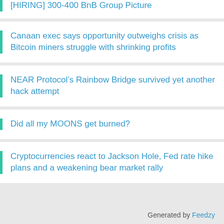[HIRING] 300-400 BnB Group Picture
Canaan exec says opportunity outweighs crisis as Bitcoin miners struggle with shrinking profits
NEAR Protocol’s Rainbow Bridge survived yet another hack attempt
Did all my MOONS get burned?
Cryptocurrencies react to Jackson Hole, Fed rate hike plans and a weakening bear market rally
Generated by Feedzy